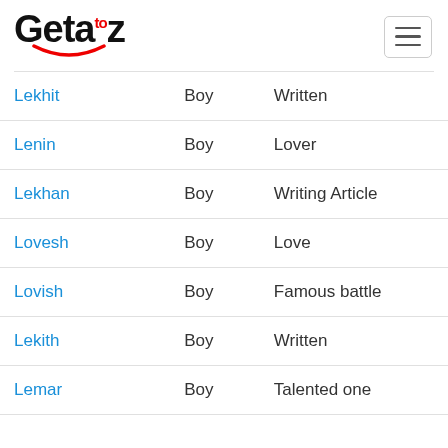[Figure (logo): Geta to z logo with red smile arc underneath]
| Name | Gender | Meaning |
| --- | --- | --- |
| Lekhit | Boy | Written |
| Lenin | Boy | Lover |
| Lekhan | Boy | Writing Article |
| Lovesh | Boy | Love |
| Lovish | Boy | Famous battle |
| Lekith | Boy | Written |
| Lemar | Boy | Talented one |